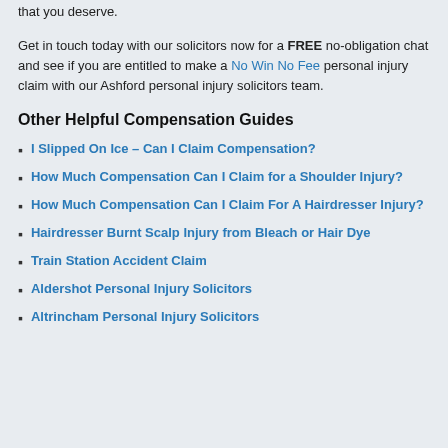that you deserve.
Get in touch today with our solicitors now for a FREE no-obligation chat and see if you are entitled to make a No Win No Fee personal injury claim with our Ashford personal injury solicitors team.
Other Helpful Compensation Guides
I Slipped On Ice – Can I Claim Compensation?
How Much Compensation Can I Claim for a Shoulder Injury?
How Much Compensation Can I Claim For A Hairdresser Injury?
Hairdresser Burnt Scalp Injury from Bleach or Hair Dye
Train Station Accident Claim
Aldershot Personal Injury Solicitors
Altrincham Personal Injury Solicitors